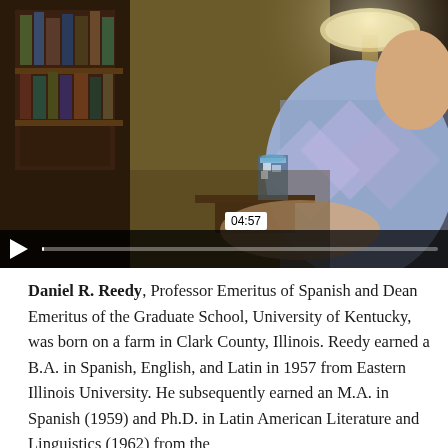[Figure (screenshot): Video player screenshot showing an elderly man seated in a room with bookshelves and a lamp, wearing a plaid sweater. Video controls visible at bottom with play button, timestamp tooltip showing 04:57, and progress bar.]
Daniel R. Reedy, Professor Emeritus of Spanish and Dean Emeritus of the Graduate School, University of Kentucky, was born on a farm in Clark County, Illinois. Reedy earned a B.A. in Spanish, English, and Latin in 1957 from Eastern Illinois University. He subsequently earned an M.A. in Spanish (1959) and Ph.D. in Latin American Literature and Linguistics (1962) from the